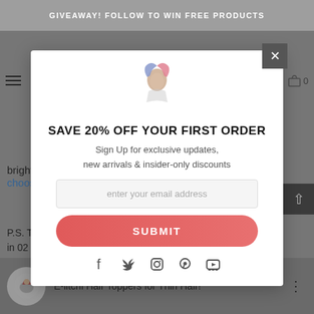GIVEAWAY! FOLLOW TO WIN FREE PRODUCTS
bright as sunshine. □Not your crown sizes? Click here to choose□
P.S. The influencer in the □□□□□ below wears a 12” topper, in 02 dark brown color.
SAVE 20% OFF YOUR FIRST ORDER
Sign Up for exclusive updates, new arrivals & insider-only discounts
enter your email address
SUBMIT
[Figure (logo): E-litchi brand logo with stylized hair figure in red and blue tones]
E-litchi Hair Toppers for Thin Hair!